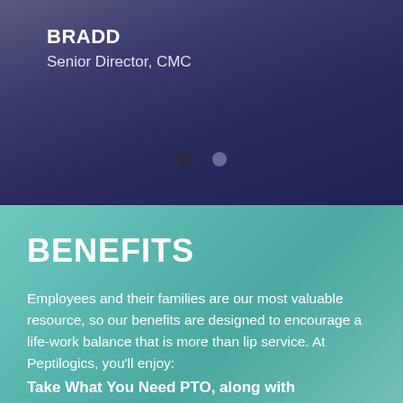BRADD
Senior Director, CMC
[Figure (illustration): Two navigation dots indicating a slideshow position: one dark filled dot (active) and one lighter dot (inactive), centered horizontally on a dark blue gradient background]
BENEFITS
Employees and their families are our most valuable resource, so our benefits are designed to encourage a life-work balance that is more than lip service. At Peptilogics, you'll enjoy:
Take What You Need PTO, along with